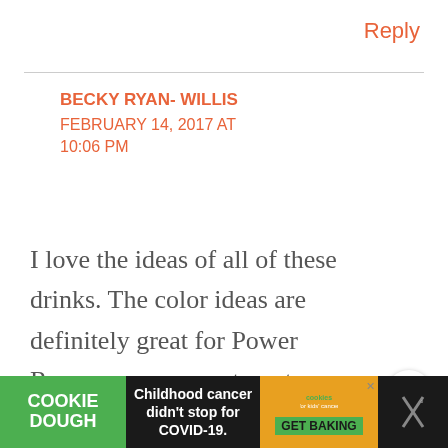Reply
BECKY RYAN- WILLIS
FEBRUARY 14, 2017 AT 10:06 PM
I love the ideas of all of these drinks. The color ideas are definitely great for Power Rangers, or any cartoon type
[Figure (other): Cookie Dough advertisement banner: Childhood cancer didn't stop for COVID-19. Cookie Dough for kids cancer GET BAKING.]